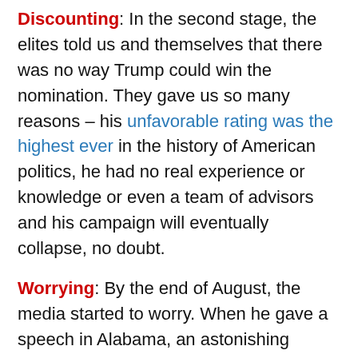Discounting: In the second stage, the elites told us and themselves that there was no way Trump could win the nomination. They gave us so many reasons – his unfavorable rating was the highest ever in the history of American politics, he had no real experience or knowledge or even a team of advisors and his campaign will eventually collapse, no doubt.
Worrying: By the end of August, the media started to worry. When he gave a speech in Alabama, an astonishing 30,000 people showed up to hear him speak! Now, Trump was seen as a real threat to the GOP Establishment. He consistently lead in the polls and won in all the debates even though the pundits would scream that he lost. This was turning out to be very scary!
Disrupting: Beginning in September, the elites started